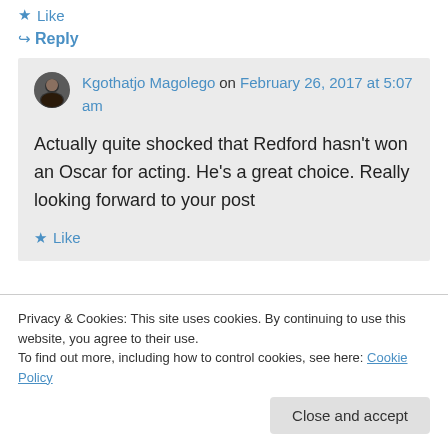★ Like
↪ Reply
Kgothatjo Magolego on February 26, 2017 at 5:07 am
Actually quite shocked that Redford hasn't won an Oscar for acting. He's a great choice. Really looking forward to your post
★ Like
Privacy & Cookies: This site uses cookies. By continuing to use this website, you agree to their use.
To find out more, including how to control cookies, see here: Cookie Policy